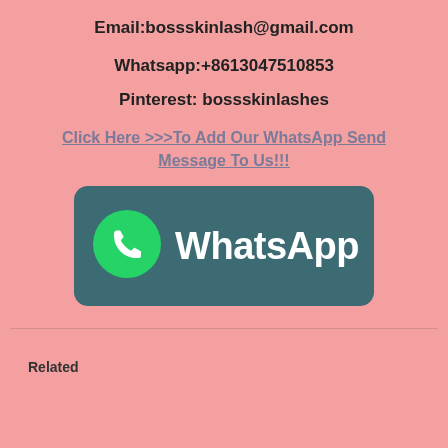Email:bossskinlash@gmail.com
Whatsapp:+8613047510853
Pinterest: bossskinlashes
Click Here >>>To Add Our WhatsApp Send Message To Us!!!
[Figure (logo): WhatsApp logo button with teal/dark green rounded rectangle background, green speech bubble icon with phone, and white WhatsApp wordmark text]
Related